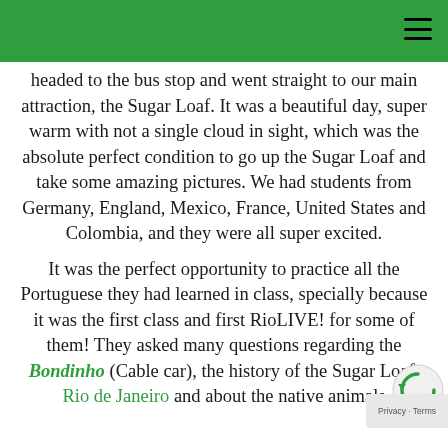headed to the bus stop and went straight to our main attraction, the Sugar Loaf. It was a beautiful day, super warm with not a single cloud in sight, which was the absolute perfect condition to go up the Sugar Loaf and take some amazing pictures. We had students from Germany, England, Mexico, France, United States and Colombia, and they were all super excited.

It was the perfect opportunity to practice all the Portuguese they had learned in class, specially because it was the first class and first RioLIVE! for some of them! They asked many questions regarding the Bondinho (Cable car), the history of the Sugar Loaf, Rio de Janeiro and about the native animals